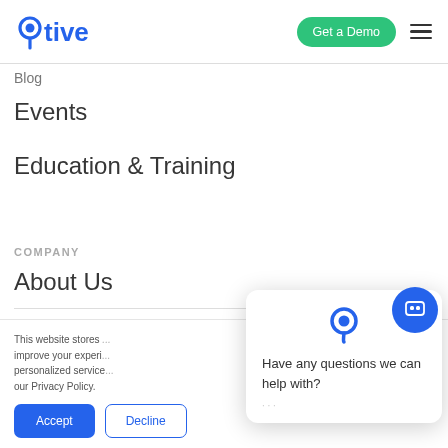[Figure (logo): Otive logo with location pin icon in blue]
Get a Demo
Blog
Events
Education & Training
COMPANY
About Us
This website stores ... improve your experi... personalized service... our Privacy Policy.
Accept
Decline
[Figure (illustration): Popup widget with Otive logo icon, close X button, and message: Have any questions we can help with?]
[Figure (illustration): Blue circular chat button icon]